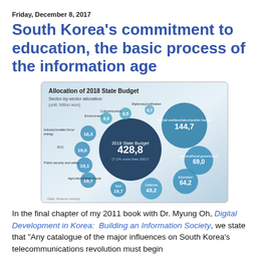Friday, December 8, 2017
South Korea's commitment to education, the basic process of the information age
[Figure (bubble-chart): Bubble chart showing sector-by-sector allocation of 2018 State Budget (428.8 trillion won, 7.1% more than 2017). Sectors include Social welfare/labor/public health 144.7, General/local government 69.0, Education 64.2, Defense 43.2, R&D 19.7, Agriculture/fishery/foods 19.7, Public security and safety 19.1, SOC 19.0, Industry/smaller firms/energy 16.3, Environment 6.9, Culture/tourism 6.5, Diplomacy/unification 4.7.]
In the final chapter of my 2011 book with Dr. Myung Oh, Digital Development in Korea: Building an Information Society, we state that "Any catalogue of the major influences on South Korea's telecommunications revolution must begin